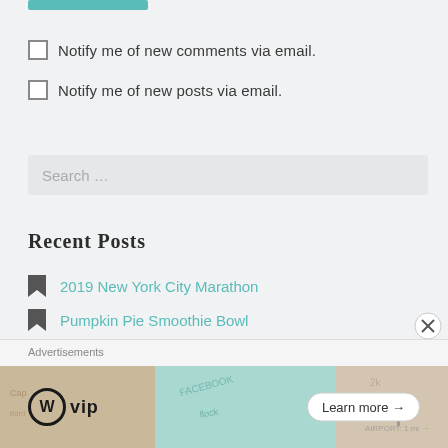[Figure (other): Teal/green button or bar at the top left]
Notify me of new comments via email.
Notify me of new posts via email.
Search ...
Recent Posts
2019 New York City Marathon
Pumpkin Pie Smoothie Bowl
My Favorite Running Gear
Advertisements
[Figure (logo): WordPress VIP logo with Learn more button and colorful background with map/social media imagery]